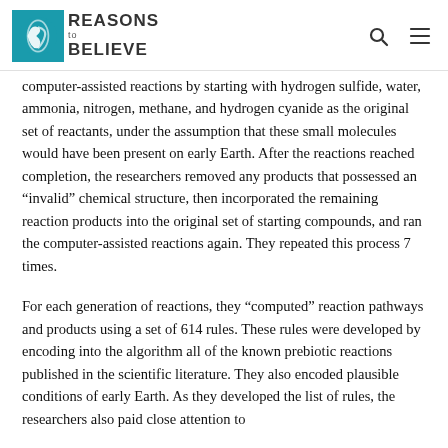Reasons to Believe
computer-assisted reactions by starting with hydrogen sulfide, water, ammonia, nitrogen, methane, and hydrogen cyanide as the original set of reactants, under the assumption that these small molecules would have been present on early Earth. After the reactions reached completion, the researchers removed any products that possessed an “invalid” chemical structure, then incorporated the remaining reaction products into the original set of starting compounds, and ran the computer-assisted reactions again. They repeated this process 7 times.
For each generation of reactions, they “computed” reaction pathways and products using a set of 614 rules. These rules were developed by encoding into the algorithm all of the known prebiotic reactions published in the scientific literature. They also encoded plausible conditions of early Earth. As they developed the list of rules, the researchers also paid close attention to